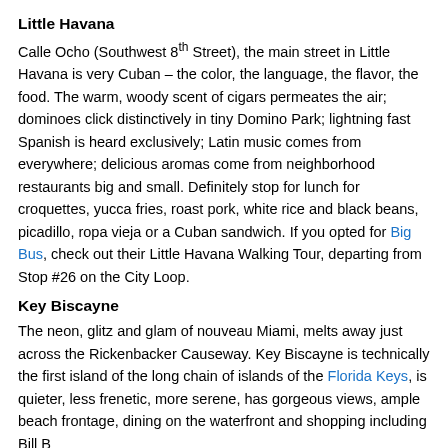Little Havana
Calle Ocho (Southwest 8th Street), the main street in Little Havana is very Cuban – the color, the language, the flavor, the food. The warm, woody scent of cigars permeates the air; dominoes click distinctively in tiny Domino Park; lightning fast Spanish is heard exclusively; Latin music comes from everywhere; delicious aromas come from neighborhood restaurants big and small. Definitely stop for lunch for croquettes, yucca fries, roast pork, white rice and black beans, picadillo, ropa vieja or a Cuban sandwich. If you opted for Big Bus, check out their Little Havana Walking Tour, departing from Stop #26 on the City Loop.
Key Biscayne
The neon, glitz and glam of nouveau Miami, melts away just across the Rickenbacker Causeway. Key Biscayne is technically the first island of the long chain of islands of the Florida Keys, is quieter, less frenetic, more serene, has gorgeous views, ample beach frontage, dining on the waterfront and shopping including Bill B...